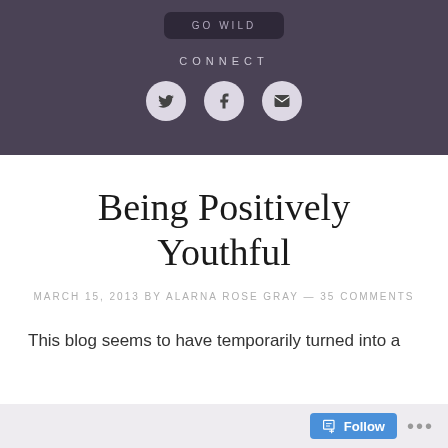[Figure (screenshot): Dark purple header section with GO WILD button, CONNECT label, and three social media icons (Twitter, Facebook, Email) in light circles]
Being Positively Youthful
MARCH 15, 2013 BY ALARNA ROSE GRAY — 35 COMMENTS
This blog seems to have temporarily turned into a
[Figure (screenshot): Follow button bar at bottom of page with blue Follow button and ellipsis]